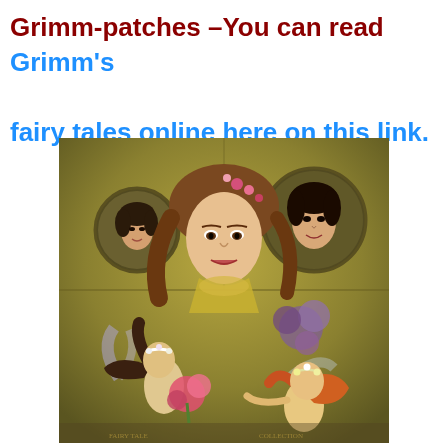Grimm-patches –You can read Grimm's fairy tales online here on this link.
[Figure (illustration): A collage illustration featuring fairy tale women and fairies: a central woman with flowers in her hair, two women in circular portrait frames (one dark-haired, one smaller), and two fairies dancing at the bottom — one with dark flowing hair holding a bouquet, one with red/orange hair and a flower crown. Background has a golden-green painted texture.]